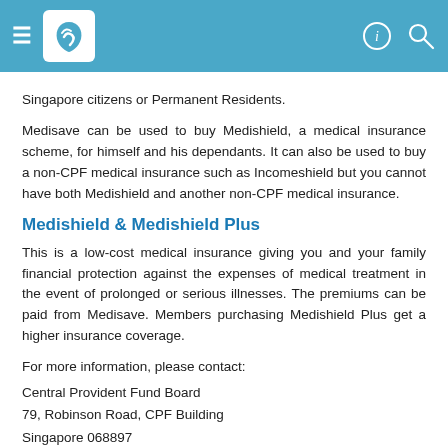Header bar with navigation icons and CPF logo
Singapore citizens or Permanent Residents.
Medisave can be used to buy Medishield, a medical insurance scheme, for himself and his dependants. It can also be used to buy a non-CPF medical insurance such as Incomeshield but you cannot have both Medishield and another non-CPF medical insurance.
Medishield & Medishield Plus
This is a low-cost medical insurance giving you and your family financial protection against the expenses of medical treatment in the event of prolonged or serious illnesses. The premiums can be paid from Medisave. Members purchasing Medishield Plus get a higher insurance coverage.
For more information, please contact:
Central Provident Fund Board
79, Robinson Road, CPF Building
Singapore 068897
Tel : (65) 1800 227 1188
Fax: (65) 6225 8722